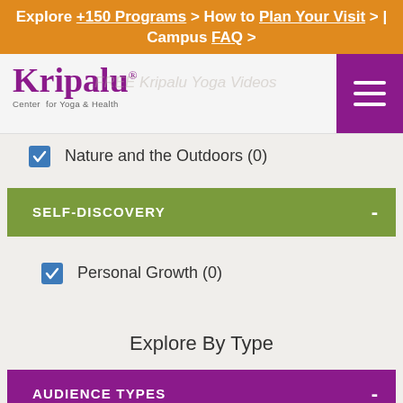Explore +150 Programs > How to Plan Your Visit > | Campus FAQ >
[Figure (logo): Kripalu Center for Yoga & Health logo with purple text and hamburger menu button]
Nature and the Outdoors (0)
SELF-DISCOVERY -
Personal Growth (0)
Explore By Type
AUDIENCE TYPES -